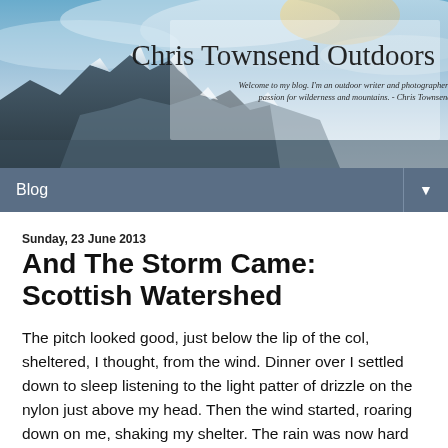[Figure (photo): Mountain landscape banner with snow-capped peaks and cloudy sky. Text overlay reads 'Chris Townsend Outdoors' and subtitle 'Welcome to my blog. I'm an outdoor writer and photographer with a passion for wilderness and mountains. - Chris Townsend']
Blog ▼
Sunday, 23 June 2013
And The Storm Came: Scottish Watershed
The pitch looked good, just below the lip of the col, sheltered, I thought, from the wind. Dinner over I settled down to sleep listening to the light patter of drizzle on the nylon just above my head. Then the wind started, roaring down on me, shaking my shelter. The rain was now hard and loud, bouncing off the fabric. As the wind grew I realized I wouldn't sleep so midnight saw me out in the storm moving camp. Just 50 metres further downhill and I was out of the worst of it. A bumpier site but at least I could sleep. I woke to thick mist and continuing rain. A slog up a greasy path and I